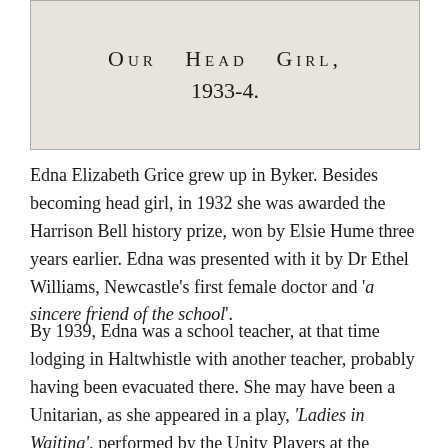[Figure (other): A framed image box with stylized text reading 'Our Head Girl, 1933-4.' on a beige/grey background]
Edna Elizabeth Grice grew up in Byker. Besides becoming head girl, in 1932 she was awarded the Harrison Bell history prize, won by Elsie Hume three years earlier. Edna was presented with it by Dr Ethel Williams, Newcastle's first female doctor and 'a sincere friend of the school'.
By 1939, Edna was a school teacher, at that time lodging in Haltwhistle with another teacher, probably having been evacuated there. She may have been a Unitarian, as she appeared in a play, 'Ladies in Waiting', performed by the Unity Players at the Durant Hall, Ellison Place, for the Northumberland and Durham War Needs Fund.  In 1944, she married William Harding of Cartington Terrace, an accountant and company secretary. For most of their